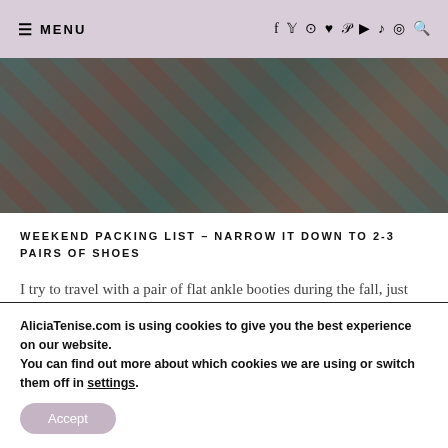≡ MENU  f  ♥  ⊕  ▶  ♪  ◎  🔍
[Figure (photo): Close-up photo of colorful diagonal patterned floor tiles in teal, rust, and brown tones]
WEEKEND PACKING LIST – NARROW IT DOWN TO 2-3 PAIRS OF SHOES
I try to travel with a pair of flat ankle booties during the fall, just because that will go with pretty much any outfit you pack. As for other shoes, I might pack a pair of foldable over the knee boots and one pair of heels, and then call it a day. Sneakers are also a great option to travel in if you plan on doing hiking (or any of outdoor activities on your trip…
AliciaTenise.com is using cookies to give you the best experience on our website.
You can find out more about which cookies we are using or switch them off in settings.
Accept